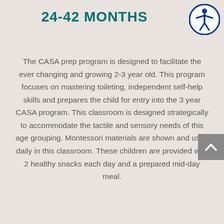24-42 MONTHS
The CASA prep program is designed to facilitate the ever changing and growing 2-3 year old. This program focuses on mastering toileting, independent self-help skills and prepares the child for entry into the 3 year CASA program. This classroom is designed strategically to accommodate the tactile and sensory needs of this age grouping. Montessori materials are shown and used daily in this classroom. These children are provided with 2 healthy snacks each day and a prepared mid-day meal.